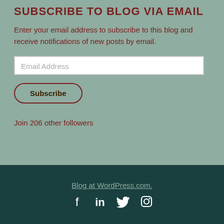SUBSCRIBE TO BLOG VIA EMAIL
Enter your email address to subscribe to this blog and receive notifications of new posts by email.
Email Address
Subscribe
Join 206 other followers
Blog at WordPress.com.
[Figure (other): Social media icons: Facebook, LinkedIn, Twitter, Instagram]